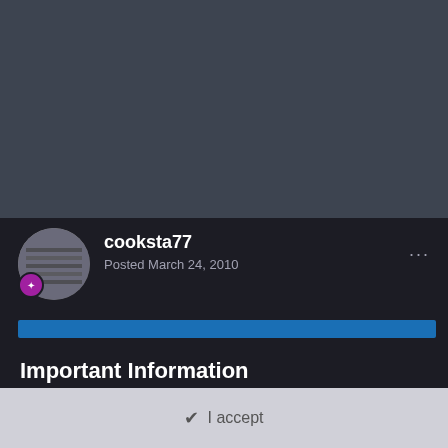[Figure (screenshot): Dark forum page background, top half]
cooksta77
Posted March 24, 2010
Important Information
Terms of Use https://themeparkreview.com/forum/topic/116-terms-of-service-please-read/
✔ I accept